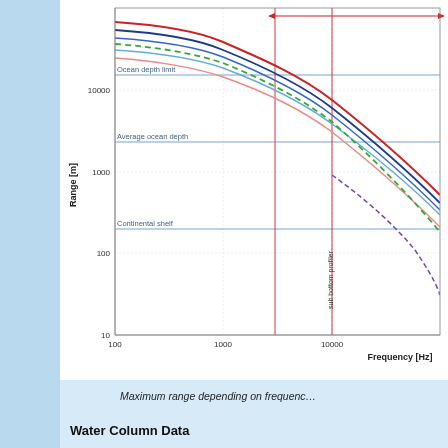[Figure (continuous-plot): Log-log chart showing Maximum range [m] (y-axis, 10 to ~50000) vs Frequency [Hz] (x-axis, 100 to ~10000+). Multiple curves for different sonar/acoustic systems curve downward left-to-right. Horizontal reference lines mark Ocean depth limit (~15000m), Average ocean depth (~3800m), and Continental shelf (~200m). Vertical red lines mark 'sub bottom profiler' (~3000 Hz) and 'oceanographic research ES' (~10000 Hz). A red double-headed arrow spans the top. Curves include red, blue (2 shades), light blue, pink, green dashed, and purple dashed lines.]
Maximum range depending on frequenc...
Water Column Data